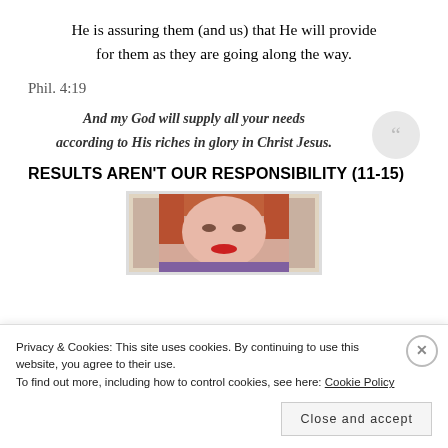He is assuring them (and us) that He will provide for them as they are going along the way.
Phil. 4:19
And my God will supply all your needs according to His riches in glory in Christ Jesus.
RESULTS AREN'T OUR RESPONSIBILITY (11-15)
[Figure (photo): Partial photo of a person with red/orange hair and red lips, wearing purple clothing, visible from neck up, shown in a polaroid-style frame.]
Privacy & Cookies: This site uses cookies. By continuing to use this website, you agree to their use. To find out more, including how to control cookies, see here: Cookie Policy
Close and accept